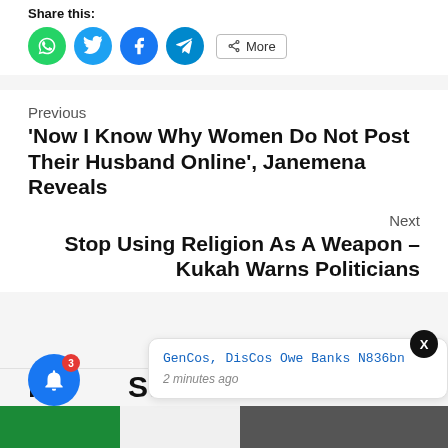Share this:
[Figure (infographic): Row of social share buttons: WhatsApp (green circle), Twitter (blue circle), Facebook (blue circle), Telegram (blue circle), and a More button with share icon]
Previous
‘Now I Know Why Women Do Not Post Their Husband Online’, Janemena Reveals
Next
Stop Using Religion As A Weapon – Kukah Warns Politicians
More Stories
[Figure (infographic): Notification popup showing 'GenCos, DisCos Owe Banks N836bn' with timestamp '2 minutes ago', alongside a blue bell icon with badge showing 3, and a close X button]